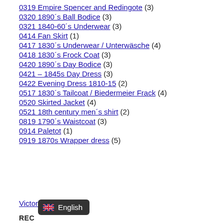0319 Empire Spencer and Redingote (3)
0320 1890´s Ball Bodice (3)
0321 1840-60´s Underwear (3)
0414 Fan Skirt (1)
0417 1830´s Underwear / Unterwäsche (4)
0418 1830´s Frock Coat (3)
0420 1890´s Day Bodice (3)
0421 – 1845s Day Dress (3)
0422 Evening Dress 1810-15 (2)
0517 1830´s Tailcoat / Biedermeier Frack (4)
0520 Skirted Jacket (4)
0521 18th century men´s shirt (2)
0819 1790´s Waistcoat (3)
0914 Paletot (1)
0919 1870s Wrapper dress (5)
Victorian (19)
English
REC